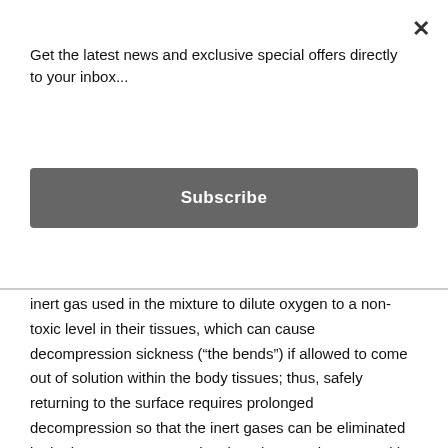Get the latest news and exclusive special offers directly to your inbox...
Subscribe
inert gas used in the mixture to dilute oxygen to a non-toxic level in their tissues, which can cause decompression sickness (“the bends”) if allowed to come out of solution within the body tissues; thus, safely returning to the surface requires prolonged decompression so that the inert gases can be eliminated in the lungs. Decompression time does not increase with increased exposure after the dissolved gases in a diver’s tissues reach saturation point, because no more inert gas is accumulated. To avoid nitrogen narcosis, saturation divers normally breathe a helium–oxygen mixture, however at shallow depths,